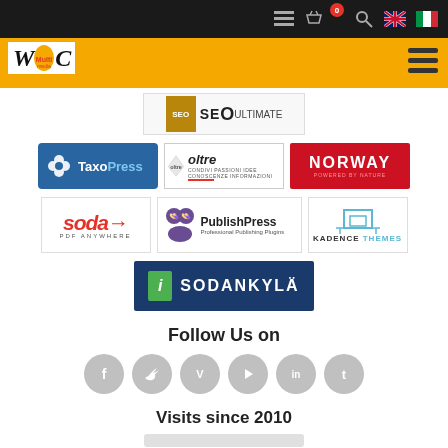WoC Multimedia website header with navigation icons and language flags
[Figure (logo): SEO Ultimate Pro plugin logo - partially visible at top]
[Figure (logo): TaxoPress plugin logo - blue background with white snowflake icon]
[Figure (logo): Oltre magazine logo]
[Figure (logo): Norway Powered by Nature red logo]
[Figure (logo): Soda PDF Anywhere logo]
[Figure (logo): PublishPress Professional Publishing Plugins logo]
[Figure (logo): Kadence Themes logo]
[Figure (logo): Sodankyla info logo - dark blue with green i icon]
Follow Us on
[Figure (infographic): Social media icons: Facebook, Twitter, Vimeo, YouTube, LinkedIn, Tumblr - all grey circles]
Visits since 2010